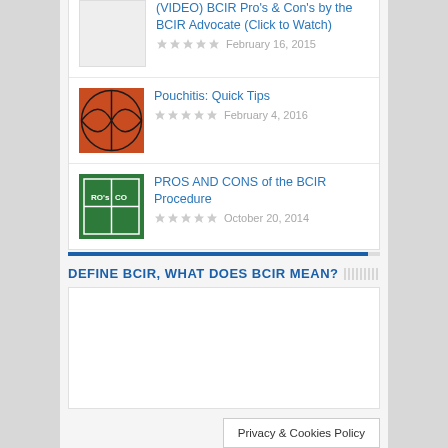(VIDEO) BCIR Pro's & Con's by the BCIR Advocate (Click to Watch) — February 16, 2015
Pouchitis: Quick Tips — February 4, 2016
PROS AND CONS of the BCIR Procedure — October 20, 2014
DEFINE BCIR, WHAT DOES BCIR MEAN?
[Figure (other): White content area below section header, likely video embed placeholder]
Privacy & Cookies Policy